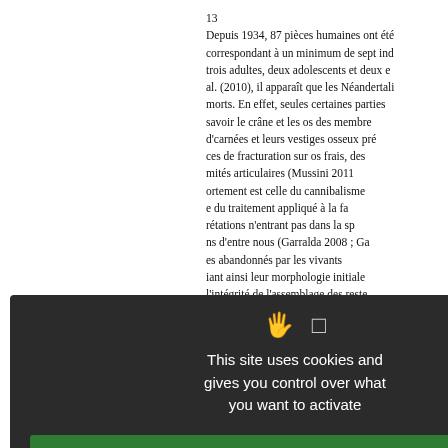13  Depuis 1934, 87 pièces humaines ont été correspondant à un minimum de sept ind trois adultes, deux adolescents et deux e al. (2010), il apparaît que les Néandertali morts. En effet, seules certaines parties savoir le crâne et les os des membre d'carnées et leurs vestiges osseux pré ces de fracturation sur os frais, des mités articulaires (Mussini 2011 ortement est celle du cannibalisme e du traitement appliqué à la fa rétations n'entrant pas dans la sp ns d'entre nous (Garralda 2008 ; Ga es abandonnés par les vivants c iant ainsi leur morphologie initiale l'intégrité de l'assemblage des reste
Données géochronologi
- Datation des ossements
études isotopiques sur ossements ervation du collagène dans la majori
This site uses cookies and gives you control over what you want to activate
✓ OK, accept all
✗ Deny all cookies
Personalize
Privacy policy